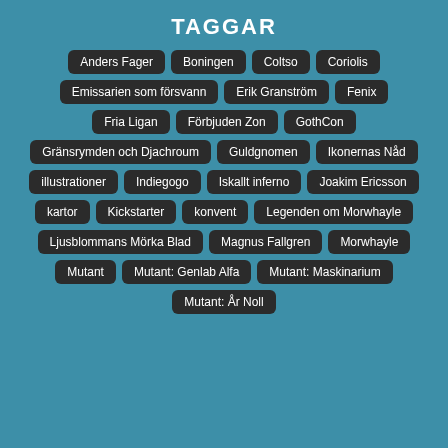TAGGAR
Anders Fager
Boningen
Coltso
Coriolis
Emissarien som försvann
Erik Granström
Fenix
Fria Ligan
Förbjuden Zon
GothCon
Gränsrymden och Djachroum
Guldgnomen
Ikonernas Nåd
illustrationer
Indiegogo
Iskallt inferno
Joakim Ericsson
kartor
Kickstarter
konvent
Legenden om Morwhayle
Ljusblommans Mörka Blad
Magnus Fallgren
Morwhayle
Mutant
Mutant: Genlab Alfa
Mutant: Maskinarium
Mutant: År Noll